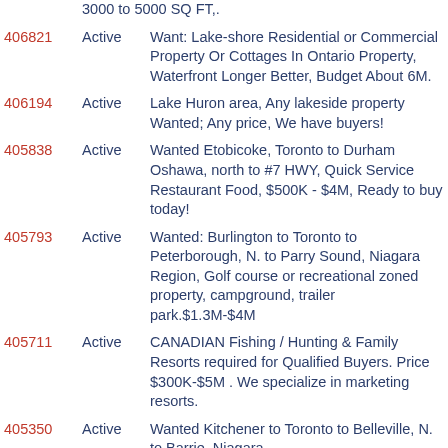3000 to 5000 SQ FT,.
406821  Active  Want: Lake-shore Residential or Commercial Property Or Cottages In Ontario Property, Waterfront Longer Better, Budget About 6M.
406194  Active  Lake Huron area, Any lakeside property Wanted; Any price, We have buyers!
405838  Active  Wanted Etobicoke, Toronto to Durham Oshawa, north to #7 HWY, Quick Service Restaurant Food, $500K - $4M, Ready to buy today!
405793  Active  Wanted: Burlington to Toronto to Peterborough, N. to Parry Sound, Niagara Region, Golf course or recreational zoned property, campground, trailer park.$1.3M-$4M
405711  Active  CANADIAN Fishing / Hunting & Family Resorts required for Qualified Buyers. Price $300K-$5M . We specialize in marketing resorts.
405350  Active  Wanted Kitchener to Toronto to Belleville, N. to Barrie, Niagara